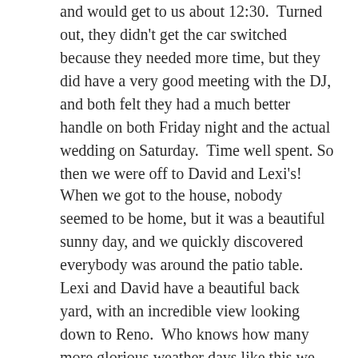and would get to us about 12:30.  Turned out, they didn't get the car switched because they needed more time, but they did have a very good meeting with the DJ, and both felt they had a much better handle on both Friday night and the actual wedding on Saturday.  Time well spent. So then we were off to David and Lexi's!
When we got to the house, nobody seemed to be home, but it was a beautiful sunny day, and we quickly discovered everybody was around the patio table. Lexi and David have a beautiful back yard, with an incredible view looking down to Reno.  Who knows how many more glorious weather days like this we can expect, so we took advantage of the weather and the view and the company!  David's Mom Gerry and his sister Kim had arrived earlier from Oklahoma,  and although we'd met his Mom very briefly as we exchanged cruises last time